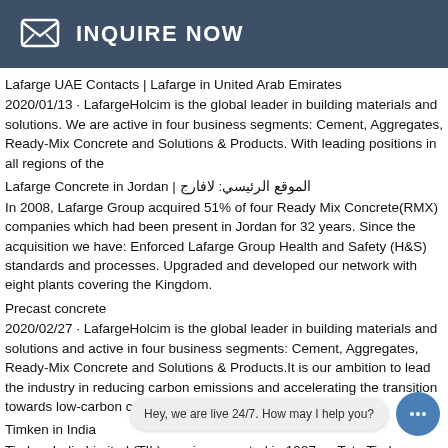INQUIRE NOW
Lafarge UAE Contacts | Lafarge in United Arab Emirates
2020/01/13 · LafargeHolcim is the global leader in building materials and solutions. We are active in four business segments: Cement, Aggregates, Ready-Mix Concrete and Solutions & Products. With leading positions in all regions of the
Lafarge Concrete in Jordan | الموقع الرئيسي: لافارج
In 2008, Lafarge Group acquired 51% of four Ready Mix Concrete(RMX) companies which had been present in Jordan for 32 years. Since the acquisition we have: Enforced Lafarge Group Health and Safety (H&S) standards and processes. Upgraded and developed our network with eight plants covering the Kingdom.
Precast concrete
2020/02/27 · LafargeHolcim is the global leader in building materials and solutions and active in four business segments: Cement, Aggregates, Ready-Mix Concrete and Solutions & Products.It is our ambition to lead the industry in reducing carbon emissions and accelerating the transition towards low-carbon construction.. With the strongest R&D …
Timken in India
Timken India Limited (TIL) was incorporated in 1987 as Tata Timken Limited (TTL), a joint venture between Tata Iron and Steel Company (TISCO) and